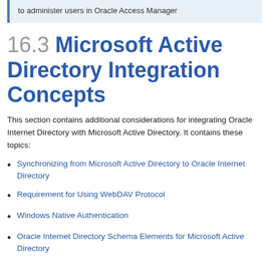to administer users in Oracle Access Manager
16.3 Microsoft Active Directory Integration Concepts
This section contains additional considerations for integrating Oracle Internet Directory with Microsoft Active Directory. It contains these topics:
Synchronizing from Microsoft Active Directory to Oracle Internet Directory
Requirement for Using WebDAV Protocol
Windows Native Authentication
Oracle Internet Directory Schema Elements for Microsoft Active Directory